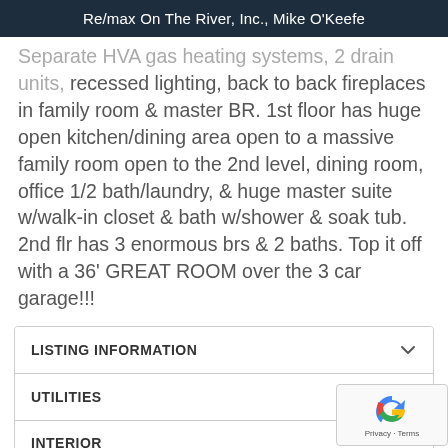Re/max On The River, Inc., Mike O'Keefe
Separate HVA gas heating systems, 2 drain units, recessed lighting, back to back fireplaces in family room & master BR. 1st floor has huge open kitchen/dining area open to a massive family room open to the 2nd level, dining room, office 1/2 bath/laundry, & huge master suite w/walk-in closet & bath w/shower & soak tub. 2nd flr has 3 enormous brs & 2 baths. Top it off with a 36' GREAT ROOM over the 3 car garage!!!
LISTING INFORMATION
UTILITIES
INTERIOR